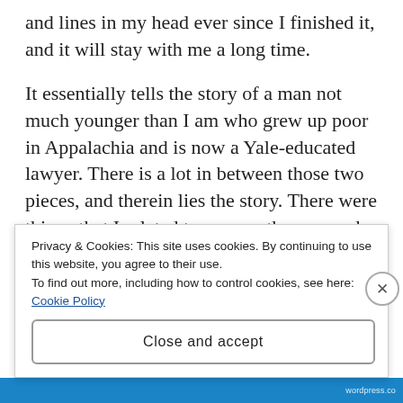and lines in my head ever since I finished it, and it will stay with me a long time.
It essentially tells the story of a man not much younger than I am who grew up poor in Appalachia and is now a Yale-educated lawyer. There is a lot in between those two pieces, and therein lies the story. There were things that I related to as a southerner, and there were things that seemed like far-reaching generalizations that were nothing at all like my own childhood. But I think it is a brave and unflinchingly
Privacy & Cookies: This site uses cookies. By continuing to use this website, you agree to their use.
To find out more, including how to control cookies, see here: Cookie Policy
Close and accept